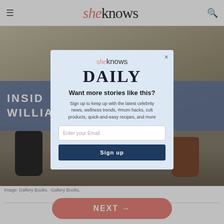sheknows
[Figure (photo): Legs and feet of people walking, with a blue banner overlay reading 'INSIDE THE LIVES OF WILLIAM & MEGHAN']
Image: Gallery Books. Gallery Books.
[Figure (screenshot): SheKnows Daily newsletter signup modal overlay with email input and Sign up button]
NEXT →